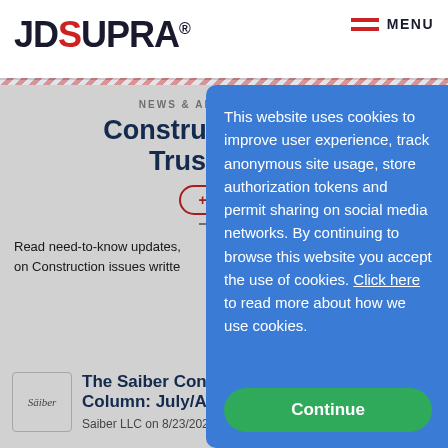[Figure (logo): JDSupra logo in top left header]
MENU
NEWS & ANALYSIS AS C…
Construction › law… Trusts, & …
+ Follo…
Read need-to-know updates, … sis on Construction issues writte… als.
This website uses cookies to improve user experience, track anonymous site usage, store authorization tokens and permit sharing on social media networks. By continuing to browse this website you accept the use of cookies. Click here to read more about how we use cookies.
Continue
[Figure (logo): Saiber LLC thumbnail logo]
The Saiber Cons… Column: July/Aug…
Saiber LLC on 8/23/2022